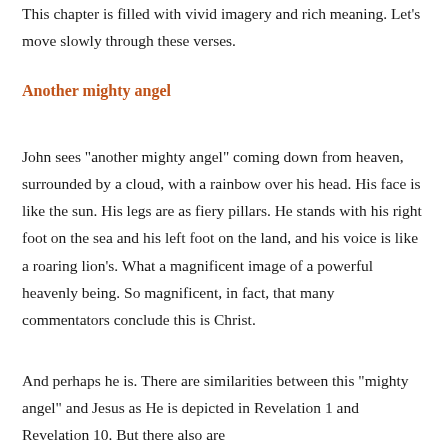This chapter is filled with vivid imagery and rich meaning. Let’s move slowly through these verses.
Another mighty angel
John sees “another mighty angel” coming down from heaven, surrounded by a cloud, with a rainbow over his head. His face is like the sun. His legs are as fiery pillars. He stands with his right foot on the sea and his left foot on the land, and his voice is like a roaring lion’s. What a magnificent image of a powerful heavenly being. So magnificent, in fact, that many commentators conclude this is Christ.
And perhaps he is. There are similarities between this “mighty angel” and Jesus as He is depicted in Revelation 1 and Revelation 10. But there also are